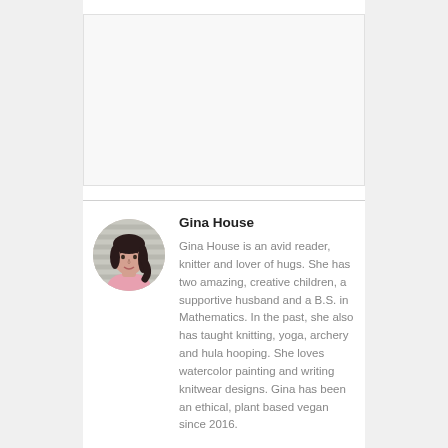[Figure (photo): Blank/white rectangle image placeholder at top of content area]
[Figure (photo): Circular profile photo of Gina House, a woman with dark hair wearing a pink shirt, shown against a striped background]
Gina House
Gina House is an avid reader, knitter and lover of hugs. She has two amazing, creative children, a supportive husband and a B.S. in Mathematics. In the past, she also has taught knitting, yoga, archery and hula hooping. She loves watercolor painting and writing knitwear designs. Gina has been an ethical, plant based vegan since 2016.